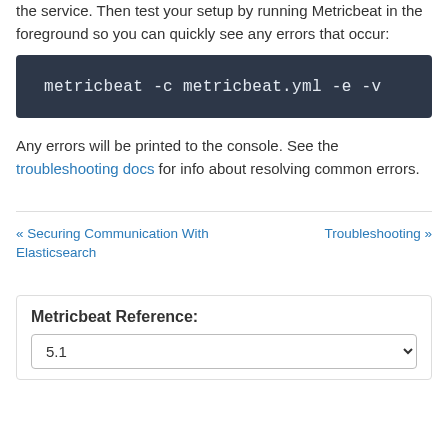the service. Then test your setup by running Metricbeat in the foreground so you can quickly see any errors that occur:
metricbeat -c metricbeat.yml -e -v
Any errors will be printed to the console. See the troubleshooting docs for info about resolving common errors.
« Securing Communication With Elasticsearch     Troubleshooting »
Metricbeat Reference:
5.1